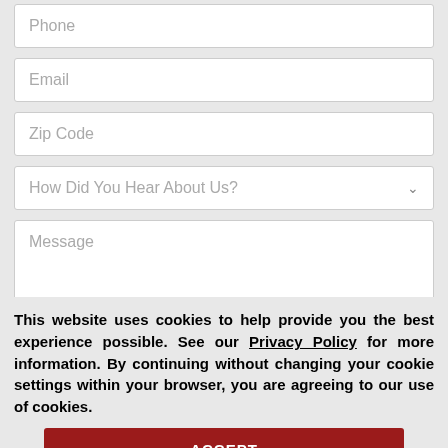Phone
Email
Zip Code
How Did You Hear About Us?
Message
Request a Free
This website uses cookies to help provide you the best experience possible. See our Privacy Policy for more information. By continuing without changing your cookie settings within your browser, you are agreeing to our use of cookies.
ACCEPT